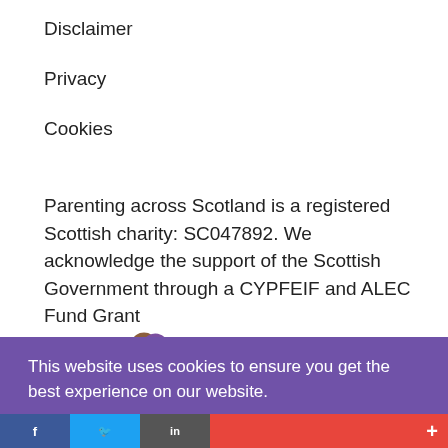Disclaimer
Privacy
Cookies
Parenting across Scotland is a registered Scottish charity: SC047892. We acknowledge the support of the Scottish Government through a CYPFEIF and ALEC Fund Grant
[Figure (logo): CORRA Foundation logo with stylized flower/celtic knot design in teal, purple, and brown]
This website uses cookies to ensure you get the best experience on our website.
Decline
Got it!